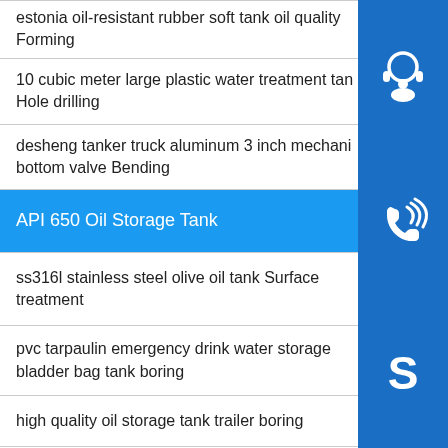estonia oil-resistant rubber soft tank oil quality Forming
10 cubic meter large plastic water treatment tank Hole drilling
desheng tanker truck aluminum 3 inch mechanical bottom valve Bending
API 650 Oil Storage Tank
ss316l stainless steel olive oil tank Surface treatment
pvc tarpaulin emergency drink water storage bladder bag tank boring
high quality oil storage tank trailer boring